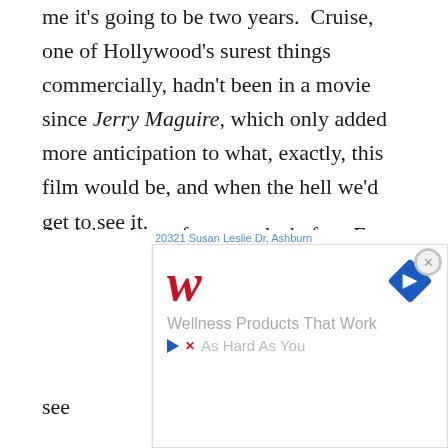me it's going to be two years.  Cruise, one of Hollywood's surest things commercially, hadn't been in a movie since Jerry Maguire, which only added more anticipation to what, exactly, this film would be, and when the hell we'd get to see it.
And then just a few months before Eyes Wide Shut hit theaters, Kubrick died suddenly at age 70. The reports were that Cruise and Kidman had just seen the finished product before his passing, and soon the excitement around the movie was laced with melancholy. We'd been waiting 12 years [partially obscured by ad] now [partially obscured] see [partially obscured]
[Figure (screenshot): Walgreens advertisement overlay with address bar showing '20321 Susan Leslie Dr, Ashburn', Walgreens W logo in red cursive, navigation diamond icon in blue, tagline 'Wellness Products That Work', and partial text 'As Hard As You'. Close button (X) in top right corner.]